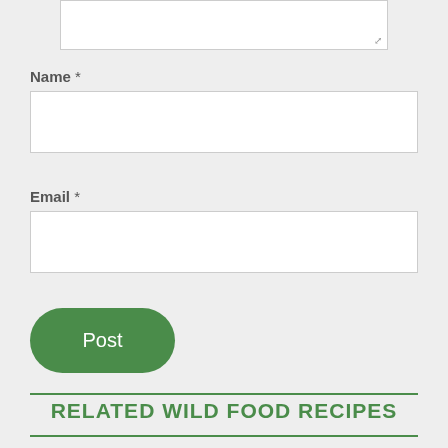Name *
Email *
Post
RELATED WILD FOOD RECIPES